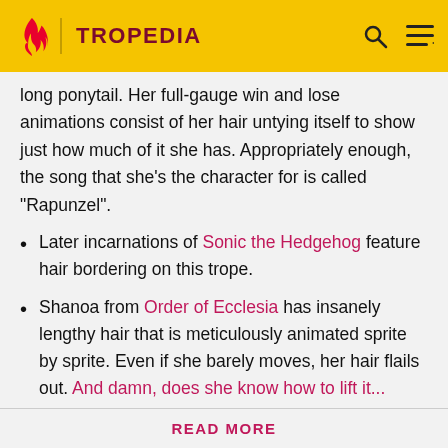TROPEDIA
long ponytail. Her full-gauge win and lose animations consist of her hair untying itself to show just how much of it she has. Appropriately enough, the song that she's the character for is called "Rapunzel".
Later incarnations of Sonic the Hedgehog feature hair bordering on this trope.
Shanoa from Order of Ecclesia has insanely lengthy hair that is meticulously animated sprite by sprite. Even if she barely moves, her hair flails out. And damn, does she know how to lift it...
Miang Hawwa has this hair in the opening video in
Before making a single edit, Tropedia EXPECTS our site policy and manual of style to be followed. Failure to do so may
READ MORE